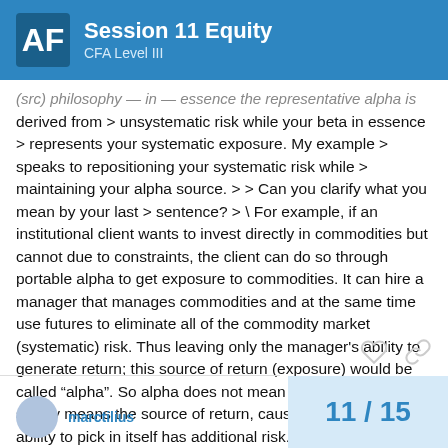Session 11 Equity | CFA Level III
(src) philosophy — in — essence the representative alpha is derived from > unsystematic risk while your beta in essence > represents your systematic exposure. My example > speaks to repositioning your systematic risk while > maintaining your alpha source. > > Can you clarify what you mean by your last > sentence? > \ For example, if an institutional client wants to invest directly in commodities but cannot due to constraints, the client can do so through portable alpha to get exposure to commodities. It can hire a manager that manages commodities and at the same time use futures to eliminate all of the commodity market (systematic) risk. Thus leaving only the manager's ability to generate return; this source of return (exposure) would be called "alpha". So alpha does not mean excess return, it just simply means the source of return, cause the manager's ability to pick in itself has additional risk.
11 / 15